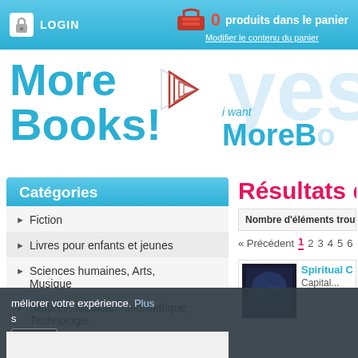LOGIN | 0 produits dans le panier | Modifier le contenu du panier
[Figure (logo): MoreBooks! logo with blue bold text and red page-turn graphic]
[Figure (illustration): i want MoreBooks watermark text in light blue]
Catégories
Fiction
Livres pour enfants et jeunes
Sciences humaines, Arts, Musique
Naturel-, Médical-, Informatique, Technologie
Sciences sociales, Droit, Economie
École et Apprentissage
Livre spécialisé
Voyage
Résultats de
Nombre d'éléments trouvés: 10...
« Précédent  1  2  3  4  5  6
Spiritual Ca... Capital...
méliorer votre expérience. Plus
npris